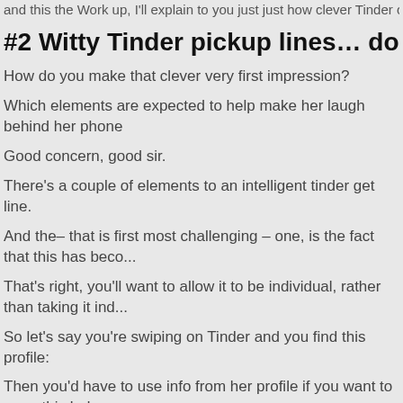and this the Work up, I'll explain to you just just how clever Tinder chat up line...
#2 Witty Tinder pickup lines… done right
How do you make that clever very first impression?
Which elements are expected to help make her laugh behind her phone
Good concern, good sir.
There's a couple of elements to an intelligent tinder get line.
And the– that is first most challenging – one, is the fact that this has beco...
That's right, you'll want to allow it to be individual, rather than taking it ind...
So let's say you're swiping on Tinder and you find this profile:
Then you'd have to use info from her profile if you want to open this lady... at her profile and also you see if there's something that talks for you.
Perhaps you love that tree when you look at the history as it's in your pre...
Perchance you pointed out that she's the sole one putting on shoes that...
Perchance you pointed out that she's the sole one putting on shoes that...